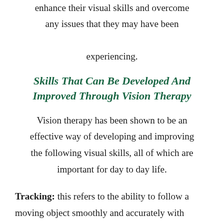enhance their visual skills and overcome any issues that they may have been experiencing.
Skills That Can Be Developed And Improved Through Vision Therapy
Vision therapy has been shown to be an effective way of developing and improving the following visual skills, all of which are important for day to day life.
Tracking: this refers to the ability to follow a moving object smoothly and accurately with